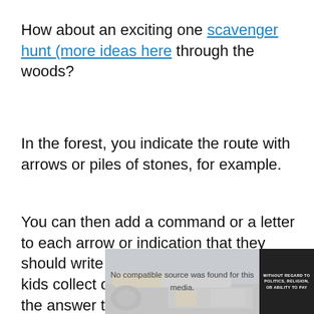How about an exciting one scavenger hunt (more ideas here through the woods?
In the forest, you indicate the route with arrows or piles of stones, for example.
You can then add a command or a letter to each arrow or indication that they should write down. All the letters that the kids collect during the walk together form the answer to the place where the treasure is!
[Figure (photo): An advertisement showing an airplane being loaded with cargo, overlaid with text 'No compatible source was found for this media.' and a badge reading 'WITHOUT REGARD TO POLITICS, RELIGION, OR ABILITY TO PAY']